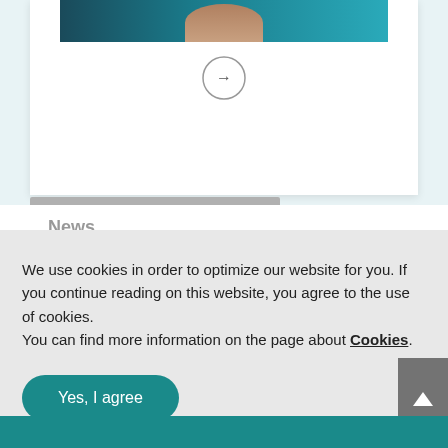[Figure (screenshot): Partially visible website with a card containing an image (person in front of teal background), a circular arrow button, a tab bar, and a partial News section with a headline beginning with 'Vi...' (cut off)]
News
We use cookies in order to optimize our website for you. If you continue reading on this website, you agree to the use of cookies. You can find more information on the page about Cookies.
Yes, I agree
allow only required cookies